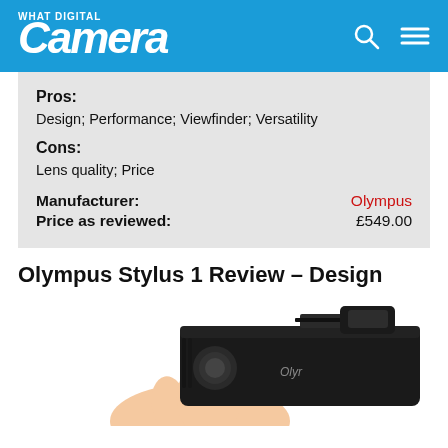What Digital Camera
Pros:
Design; Performance; Viewfinder; Versatility
Cons:
Lens quality; Price
Manufacturer: Olympus
Price as reviewed: £549.00
Olympus Stylus 1 Review – Design
[Figure (photo): Hand holding Olympus Stylus 1 camera, top-down view showing hot shoe and viewfinder]